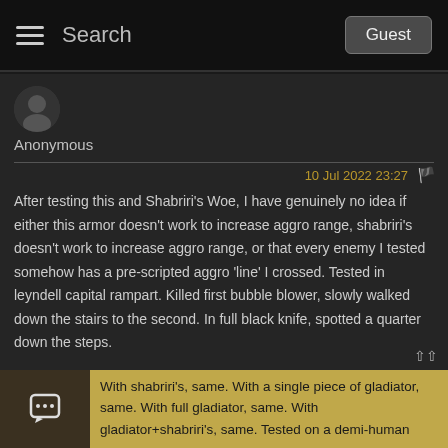Search   Guest
Anonymous
10 Jul 2022 23:27
After testing this and Shabriri's Woe, I have genuinely no idea if either this armor doesn't work to increase aggro range, shabriri's doesn't work to increase aggro range, or that every enemy I tested somehow has a pre-scripted aggro 'line' I crossed. Tested in leyndell capital rampart. Killed first bubble blower, slowly walked down the stairs to the second. In full black knife, spotted a quarter down the steps.
With shabriri's, same. With a single piece of gladiator, same. With full gladiator, same. With gladiator+shabriri's, same. Tested on a demi-human